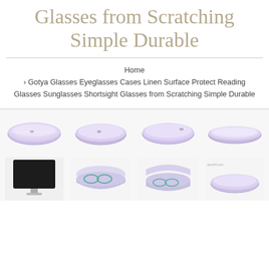Glasses from Scratching Simple Durable
Home › Gotya Glasses Eyeglasses Cases Linen Surface Protect Reading Glasses Sunglasses Shortsight Glasses from Scratching Simple Durable
[Figure (photo): Four views of a purple/lavender linen glasses case shown closed from different angles]
[Figure (photo): Bottom row: iMac desktop computer, two views of open glasses case with glasses inside, and partial view of another case]